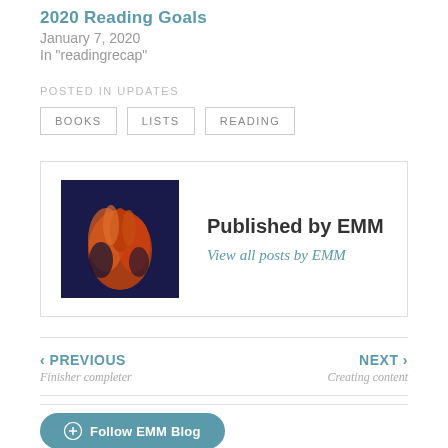2020 Reading Goals
January 7, 2020
In "readingrecap"
POSTED IN UPDATES
BOOKS
LISTS
READING
Published by EMM
View all posts by EMM
‹ PREVIOUS
Finisher completer
NEXT ›
Creating content
Follow EMM Blog